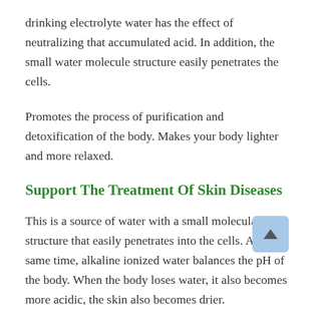drinking electrolyte water has the effect of neutralizing that accumulated acid. In addition, the small water molecule structure easily penetrates the cells.
Promotes the process of purification and detoxification of the body. Makes your body lighter and more relaxed.
Support The Treatment Of Skin Diseases
This is a source of water with a small molecular structure that easily penetrates into the cells. At the same time, alkaline ionized water balances the pH of the body. When the body loses water, it also becomes more acidic, the skin also becomes drier.